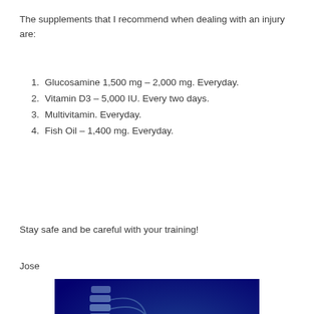The supplements that I recommend when dealing with an injury are:
Glucosamine 1,500 mg – 2,000 mg. Everyday.
Vitamin D3 – 5,000 IU. Every two days.
Multivitamin. Everyday.
Fish Oil – 1,400 mg. Everyday.
Stay safe and be careful with your training!
Jose
[Figure (photo): Anatomical X-ray style illustration of a human shoulder/spine joint on a dark blue background, with social media share buttons (Facebook and Twitter) overlaid in the center.]